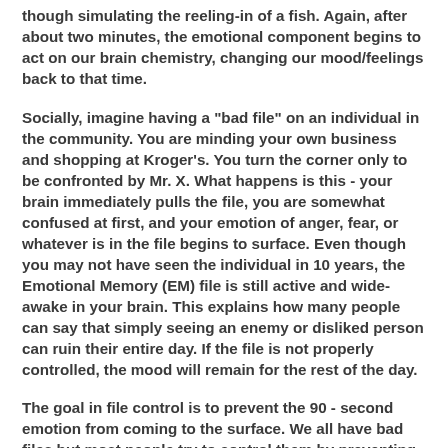though simulating the reeling-in of a fish. Again, after about two minutes, the emotional component begins to act on our brain chemistry, changing our mood/feelings back to that time.
Socially, imagine having a "bad file" on an individual in the community. You are minding your own business and shopping at Kroger's. You turn the corner only to be confronted by Mr. X. What happens is this - your brain immediately pulls the file, you are somewhat confused at first, and your emotion of anger, fear, or whatever is in the file begins to surface. Even though you may not have seen the individual in 10 years, the Emotional Memory (EM) file is still active and wide-awake in your brain. This explains how many people can say that simply seeing an enemy or disliked person can ruin their entire day. If the file is not properly controlled, the mood will remain for the rest of the day.
The goal in file control is to prevent the 90 - second emotion from coming to the surface. We all have bad files but most people try to control them by preventing